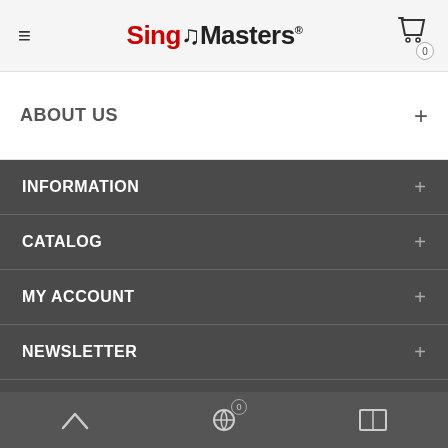SingMasters® — hamburger menu, logo, cart (0)
ABOUT US +
INFORMATION +
CATALOG +
MY ACCOUNT +
NEWSLETTER +
GET SOCIAL +
Back to top | Cart (0) | Grid view